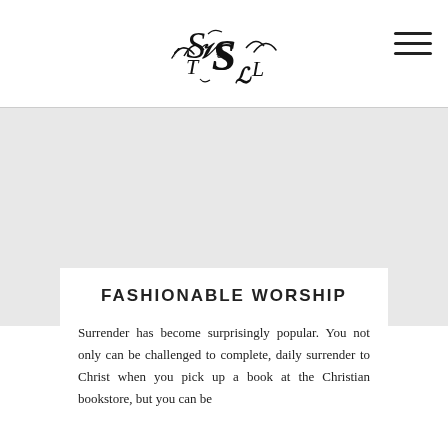TSL logo and navigation menu
[Figure (other): Gray banner placeholder image area]
FASHIONABLE WORSHIP
Surrender has become surprisingly popular. You not only can be challenged to complete, daily surrender to Christ when you pick up a book at the Christian bookstore, but you can be